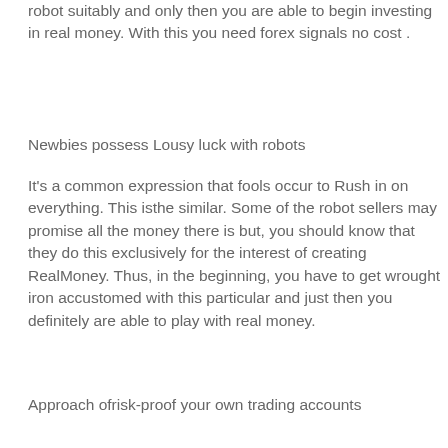robot suitably and only then you are able to begin investing in real money. With this you need forex signals no cost .
Newbies possess Lousy luck with robots
It's a common expression that fools occur to Rush in on everything. This isthe similar. Some of the robot sellers may promise all the money there is but, you should know that they do this exclusively for the interest of creating RealMoney. Thus, in the beginning, you have to get wrought iron accustomed with this particular and just then you definitely are able to play with real money.
Approach ofrisk-proof your own trading accounts